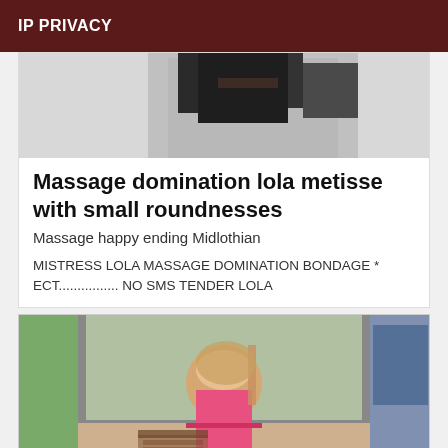IP PRIVACY
[Figure (photo): Partial view of a person in dark clothing against a light background]
Massage domination lola metisse with small roundnesses
Massage happy ending Midlothian
MISTRESS LOLA MASSAGE DOMINATION BONDAGE * ECT................ NO SMS TENDER LOLA
[Figure (photo): Person with curly blonde hair, seen from behind, in a pink outfit, reflected in a mirror with room furniture visible]